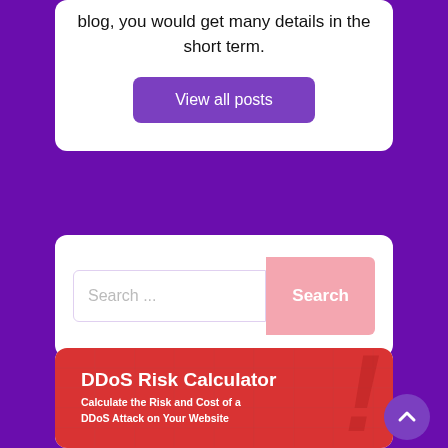blog, you would get many details in the short term.
View all posts
[Figure (screenshot): Search bar with placeholder text 'Search ...' and a pink 'Search' button on the right]
[Figure (infographic): Red banner image for 'DDoS Risk Calculator' with subtitle 'Calculate the Risk and Cost of a DDoS Attack on Your Website' and a large italic exclamation mark watermark]